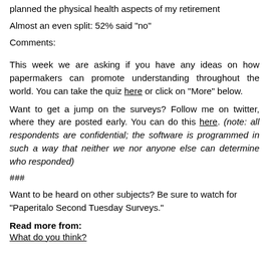planned the physical health aspects of my retirement
Almost an even split: 52% said "no"
Comments:
This week we are asking if you have any ideas on how papermakers can promote understanding throughout the world. You can take the quiz here or click on "More" below.
Want to get a jump on the surveys? Follow me on twitter, where they are posted early. You can do this here. (note: all respondents are confidential; the software is programmed in such a way that neither we nor anyone else can determine who responded)
###
Want to be heard on other subjects? Be sure to watch for "Paperitalo Second Tuesday Surveys."
Read more from:
What do you think?